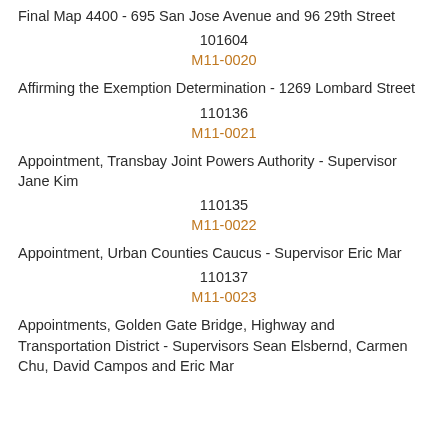Final Map 4400 - 695 San Jose Avenue and 96 29th Street
101604
M11-0020
Affirming the Exemption Determination - 1269 Lombard Street
110136
M11-0021
Appointment, Transbay Joint Powers Authority - Supervisor Jane Kim
110135
M11-0022
Appointment, Urban Counties Caucus - Supervisor Eric Mar
110137
M11-0023
Appointments, Golden Gate Bridge, Highway and Transportation District - Supervisors Sean Elsbernd, Carmen Chu, David Campos and Eric Mar